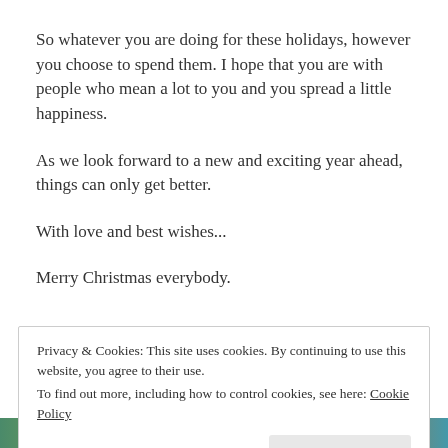So whatever you are doing for these holidays, however you choose to spend them. I hope that you are with people who mean a lot to you and you spread a little happiness.
As we look forward to a new and exciting year ahead, things can only get better.
With love and best wishes...
Merry Christmas everybody.
Privacy & Cookies: This site uses cookies. By continuing to use this website, you agree to their use.
To find out more, including how to control cookies, see here: Cookie Policy
[Figure (photo): Bottom strip showing a colorful Christmas food/decoration image with green, red and other holiday colors]